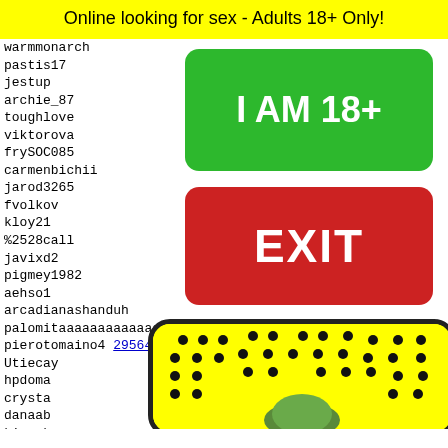Online looking for sex - Adults 18+ Only!
warmmonarch
pastis17
jestup
archie_87
toughlove
viktorova
frySOC085
carmenbichii
jarod3265
fvolkov
kloy21
%2528call
javixd2
pigmey1982
aehso1
arcadianashanduh
palomitaaaaaaaaaaaaa
pierotomaino4  29564 29565 29566 29567 29568
Utiecay
hpdoma
crysta
danaab
kimmyk
jacque
namuch
[Figure (illustration): Green button with white text 'I AM 18+']
[Figure (illustration): Red button with white text 'EXIT']
[Figure (illustration): Snapchat-style ghost emoji on yellow background with black dots grid pattern]